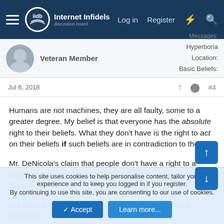Internet Infidels — Log in | Register
Veteran Member
Location: Hyperboria
Basic Beliefs: n/a
Jul 6, 2018  #4
Humans are not machines, they are all faulty, some to a greater degree. My belief is that everyone has the absolute right to their beliefs. What they don't have is the right to act on their beliefs if such beliefs are in contradiction to the law.
Mr. DeNicola's claim that people don't have a right to a dangerous belief is itself a belief, and in my opinion a dangerous one.
We don't police thoughts or beliefs; we police actions. Thought-
This site uses cookies to help personalise content, tailor your experience and to keep you logged in if you register.
By continuing to use this site, you are consenting to our use of cookies.